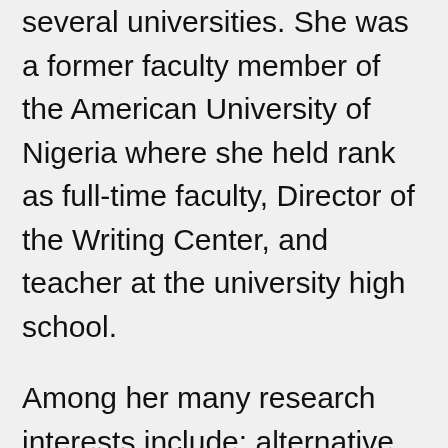several universities. She was a former faculty member of the American University of Nigeria where she held rank as full-time faculty, Director of the Writing Center, and teacher at the university high school.
Among her many research interests include: alternative modalities and composition pedagogy, including metaphysics and metacognition, medical humanities, yoga, and somatic studies, the philosophical constructs of the 18th century French Salon, and cultural studies.
She volunteers at and is also a member of the Board of Directors of the Lighthouse for the Blind...